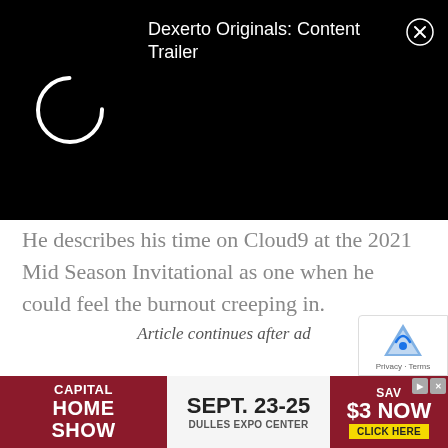[Figure (screenshot): Video player overlay showing a loading spinner on a black background, with the title 'Dexerto Originals: Content Trailer' and a close (X) button in the top right.]
He describes his time on Cloud9 at the 2021 Mid Season Invitational as one when he could feel the burnout creeping in.
“I’m always making sure that we’re not burning ourselves out, because I’ve been in this kind of situation before,” he explained, “where I’ve played MSI, and then had a very long year. It’s just been very, very tiring.”
Article continues after ad
[Figure (screenshot): Advertisement banner for Capital Home Show, Sept. 23-25, Dulles Expo Center, Save $3 Now, Click Here.]